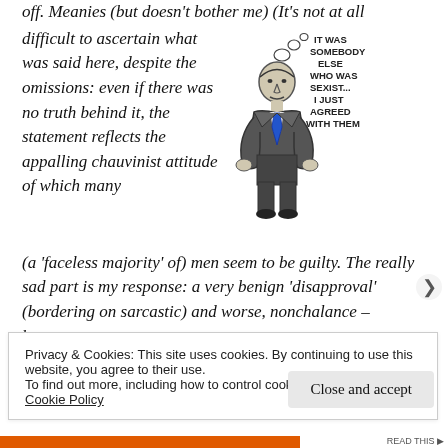off. Meanies (but doesn't bother me) (It's not at all difficult to ascertain what was said here, despite the omissions: even if there was no truth behind it, the statement reflects the appalling chauvinist attitude of which many (a 'faceless majority' of) men seem to be guilty. The really sad part is my response: a very benign 'disapproval' (bordering on sarcastic) and worse, nonchalance – because
[Figure (illustration): Hand-drawn cartoon of a man in a suit with a blue tie, with a thought bubble reading: IT WAS SOMEBODY ELSE WHO WAS SEXIST... I JUST AGREED WITH THEM]
Privacy & Cookies: This site uses cookies. By continuing to use this website, you agree to their use.
To find out more, including how to control cookies, see here:
Cookie Policy
Close and accept